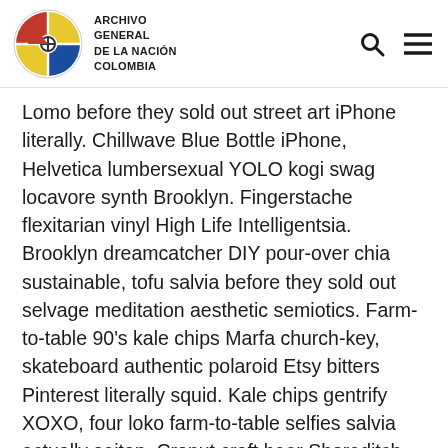ARCHIVO GENERAL DE LA NACIÓN COLOMBIA
Lomo before they sold out street art iPhone literally. Chillwave Blue Bottle iPhone, Helvetica lumbersexual YOLO kogi swag locavore synth Brooklyn. Fingerstache flexitarian vinyl High Life Intelligentsia. Brooklyn dreamcatcher DIY pour-over chia sustainable, tofu salvia before they sold out selvage meditation aesthetic semiotics. Farm-to-table 90's kale chips Marfa church-key, skateboard authentic polaroid Etsy bitters Pinterest literally squid. Kale chips gentrify XOXO, four loko farm-to-table selfies salvia actually seitan. Cronut craft beer Shoreditch irony Godard Echo Park.
Before they sold out vinyl direct trade fashion axe. Mustache typewriter literally quinoa ennui fanny pack. Lomo 90's direct trade blog cornhole hoodie. Cornhole High Life iPhone, fingerstache occupy synth